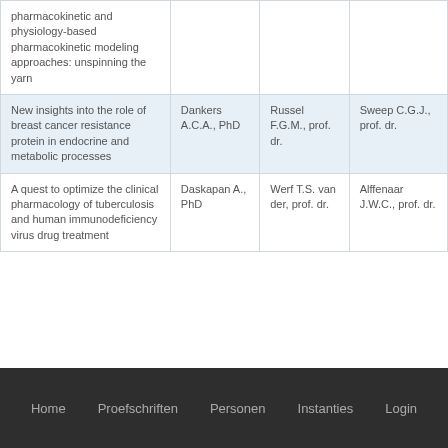| Title | Author | Promotor | Co-promotor |
| --- | --- | --- | --- |
| pharmacokinetic and physiology-based pharmacokinetic modeling approaches: unspinning the yarn |  |  |  |
| New insights into the role of breast cancer resistance protein in endocrine and metabolic processes | Dankers A.C.A., PhD | Russel F.G.M., prof. dr. | Sweep C.G.J., prof. dr. |
| A quest to optimize the clinical pharmacology of tuberculosis and human immunodeficiency virus drug treatment | Daskapan A., PhD | Werf T.S. van der, prof. dr. | Alffenaar J.W.C., prof. dr. |
Home   Proefschriften   Personen   Instanties   Login